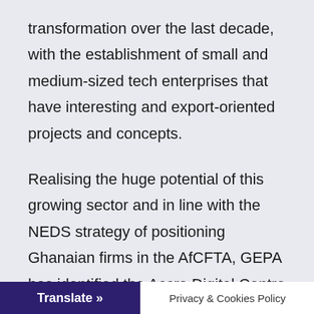transformation over the last decade, with the establishment of small and medium-sized tech enterprises that have interesting and export-oriented projects and concepts.
Realising the huge potential of this growing sector and in line with the NEDS strategy of positioning Ghanaian firms in the AfCFTA, GEPA has identified the Accra Digital Centre (ADC) as a key stakeholder to develop and promote the services of players in the IT space by projecting them in the ECOWAS region and the entire AfCFTA," she said.
Translate »
Privacy & Cookies Policy